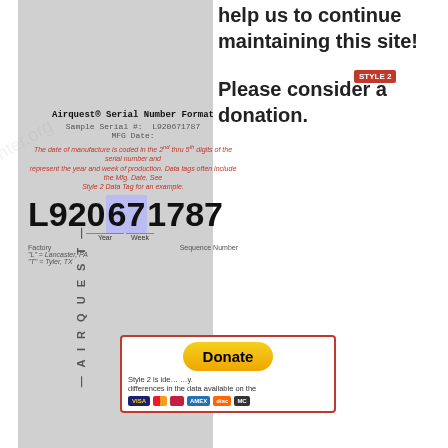help us to continue maintaining this site!
Please consider a donation.
[Figure (screenshot): Airquest serial number format diagram showing serial number L920671787 with year and week highlighted, including a red italicized explanation note]
[Figure (screenshot): PayPal Donate button with payment icons (Visa, Mastercard, Amex, Discover)]
Note – YOUR browser must be configured to accept and store Cookies for the Do Not Show Again option to work. Selecting this will disable this pop up for 30 days if cookies are enabled and not cleared.
Do not show again